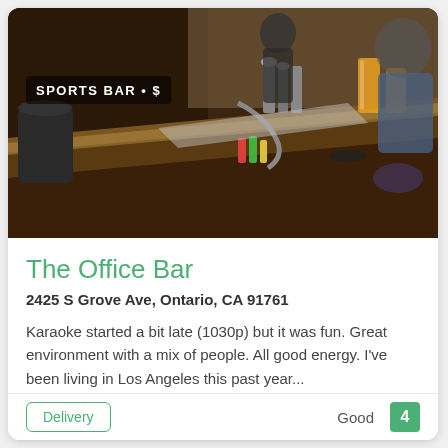[Figure (photo): Interior photo of a sports bar showing the bar counter from the side, with bar equipment, bottles, glasses, beer taps, and patrons in the background. Overlaid text reads 'SPORTS BAR • $']
The Office Bar
2425 S Grove Ave, Ontario, CA 91761
Karaoke started a bit late (1030p) but it was fun. Great environment with a mix of people. All good energy. I've been living in Los Angeles this past year...
(909) 947-5627
Order online
Delivery
Good
4